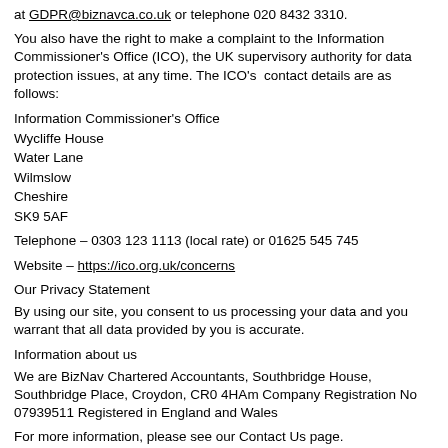at GDPR@biznavca.co.uk or telephone 020 8432 3310.
You also have the right to make a complaint to the Information Commissioner's Office (ICO), the UK supervisory authority for data protection issues, at any time. The ICO's contact details are as follows:
Information Commissioner's Office
Wycliffe House
Water Lane
Wilmslow
Cheshire
SK9 5AF
Telephone – 0303 123 1113 (local rate) or 01625 545 745
Website – https://ico.org.uk/concerns
Our Privacy Statement
By using our site, you consent to us processing your data and you warrant that all data provided by you is accurate.
Information about us
We are BizNav Chartered Accountants, Southbridge House, Southbridge Place, Croydon, CR0 4HAm Company Registration No 07939511 Registered in England and Wales
For more information, please see our Contact Us page.
Personal information
We do not collect any personal information about website users other than: